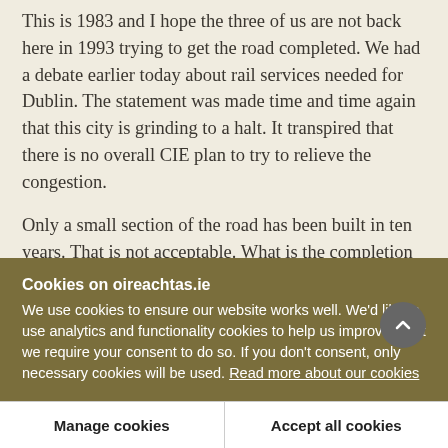This is 1983 and I hope the three of us are not back here in 1993 trying to get the road completed. We had a debate earlier today about rail services needed for Dublin. The statement was made time and time again that this city is grinding to a halt. It transpired that there is no overall CIE plan to try to relieve the congestion.
Only a small section of the road has been built in ten years. That is not acceptable. What is the completion date for the road? I want the Minister to cut through
Cookies on oireachtas.ie
We use cookies to ensure our website works well. We'd like to use analytics and functionality cookies to help us improve it but we require your consent to do so. If you don't consent, only necessary cookies will be used. Read more about our cookies